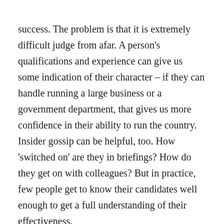success. The problem is that it is extremely difficult judge from afar. A person's qualifications and experience can give us some indication of their character – if they can handle running a large business or a government department, that gives us more confidence in their ability to run the country. Insider gossip can be helpful, too. How 'switched on' are they in briefings? How do they get on with colleagues? But in practice, few people get to know their candidates well enough to get a full understanding of their effectiveness.
Considering politicians through these three dimensions helps to explain some of the dilemmas facing voters in recent months. The Democratic presidential nomination